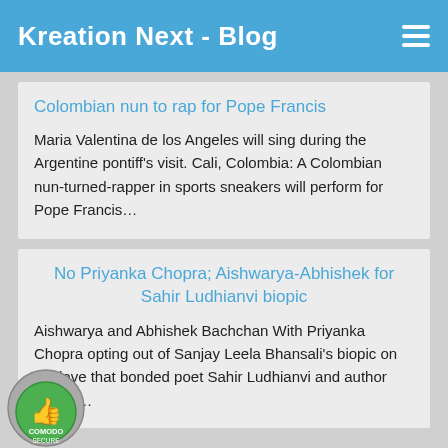Kreation Next - Blog
Colombian nun to rap for Pope Francis
Maria Valentina de los Angeles will sing during the Argentine pontiff's visit. Cali, Colombia: A Colombian nun-turned-rapper in sports sneakers will perform for Pope Francis…
No Priyanka Chopra; Aishwarya-Abhishek for Sahir Ludhianvi biopic
Aishwarya and Abhishek Bachchan With Priyanka Chopra opting out of Sanjay Leela Bhansali's biopic on the love that bonded poet Sahir Ludhianvi and author Amrita…
[Figure (logo): Comodo Secure badge with thumbs up icon]